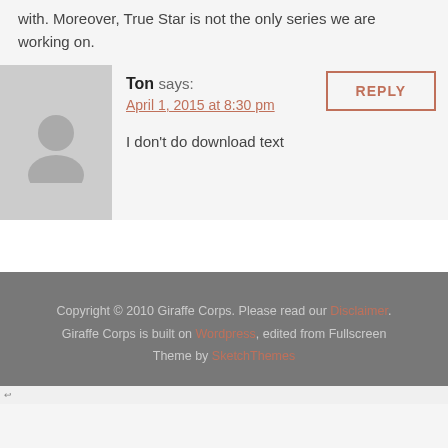with. Moreover, True Star is not the only series we are working on.
Ton says:
April 1, 2015 at 8:30 pm

I don't do download text
Copyright © 2010 Giraffe Corps. Please read our Disclaimer. Giraffe Corps is built on Wordpress, edited from Fullscreen Theme by SketchThemes